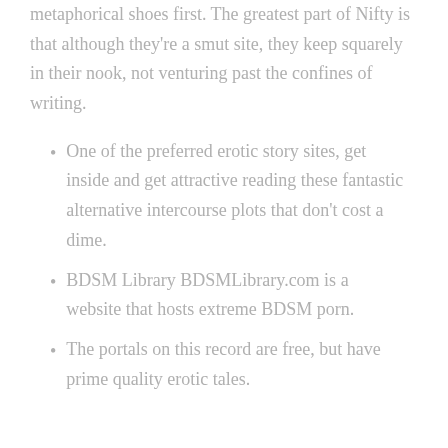metaphorical shoes first. The greatest part of Nifty is that although they're a smut site, they keep squarely in their nook, not venturing past the confines of writing.
One of the preferred erotic story sites, get inside and get attractive reading these fantastic alternative intercourse plots that don't cost a dime.
BDSM Library BDSMLibrary.com is a website that hosts extreme BDSM porn.
The portals on this record are free, but have prime quality erotic tales.